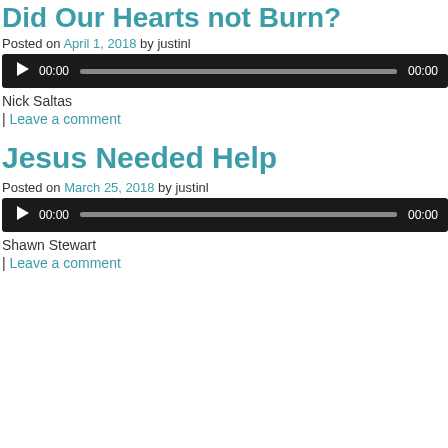Did Our Hearts not Burn?
Posted on April 1, 2018 by justinl
[Figure (other): Audio player with play button, 00:00 time display, progress bar, and 00:00 end time on dark background]
Nick Saltas
| Leave a comment
Jesus Needed Help
Posted on March 25, 2018 by justinl
[Figure (other): Audio player with play button, 00:00 time display, progress bar, and 00:00 end time on dark background]
Shawn Stewart
| Leave a comment